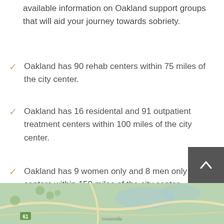available information on Oakland support groups that will aid your journey towards sobriety.
Oakland has 90 rehab centers within 75 miles of the city center.
Oakland has 16 residental and 91 outpatient treatment centers within 100 miles of the city center.
Oakland has 9 women only and 8 men only rehab centers within 150 miles of the city center.
[Figure (map): Map strip showing Oakland area roads and geography at bottom of page]